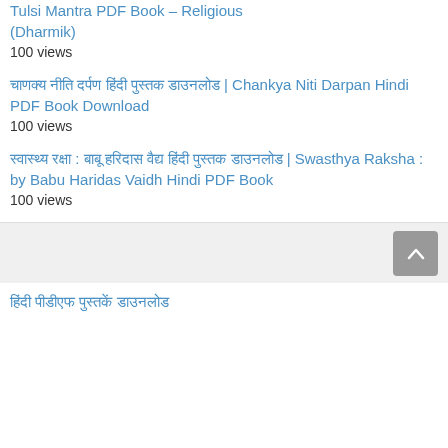Tulsi Mantra PDF Book – Religious (Dharmik)
100 views
चाणक्य नीति दर्पण हिंदी पुस्तक डाउनलोड | Chankya Niti Darpan Hindi PDF Book Download
100 views
स्वास्थ्य रक्षा : बाबू हरिदास वैद्य हिंदी पुस्तक डाउनलोड | Swasthya Raksha : by Babu Haridas Vaidh Hindi PDF Book
100 views
[Figure (other): Scroll to top button]
हिंदी पीडीएफ पुस्तकें डाउनलोड